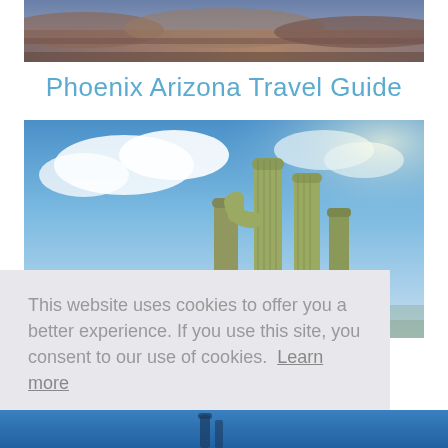[Figure (photo): Partial view of a canyon or desert landscape, cropped at top, showing red and blue rock formations]
Phoenix Arizona Travel Guide
[Figure (photo): Upward-looking photo of tall saguaro cacti against a blue sky with white clouds]
This website uses cookies to offer you a better experience. If you use this site, you consent to our use of cookies. Learn more
I Agree
[Figure (photo): Bottom strip of a blue-toned outdoor scene, partially visible]